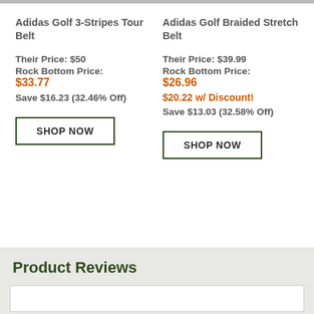Adidas Golf 3-Stripes Tour Belt
Their Price: $50
Rock Bottom Price:
$33.77
Save $16.23 (32.46% Off)
Adidas Golf Braided Stretch Belt
Their Price: $39.99
Rock Bottom Price:
$26.96
$20.22 w/ Discount!
Save $13.03 (32.58% Off)
Product Reviews